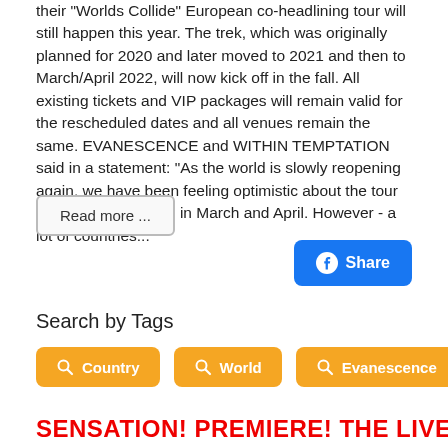their "Worlds Collide" European co-headlining tour will still happen this year. The trek, which was originally planned for 2020 and later moved to 2021 and then to March/April 2022, will now kick off in the fall. All existing tickets and VIP packages will remain valid for the rescheduled dates and all venues remain the same. EVANESCENCE and WITHIN TEMPTATION said in a statement: "As the world is slowly reopening again, we have been feeling optimistic about the tour actually taking place in March and April. However - a lot of countries...
Read more ...
Share
Search by Tags
Country
World
Evanescence
SENSATION! PREMIERE! THE LIVE